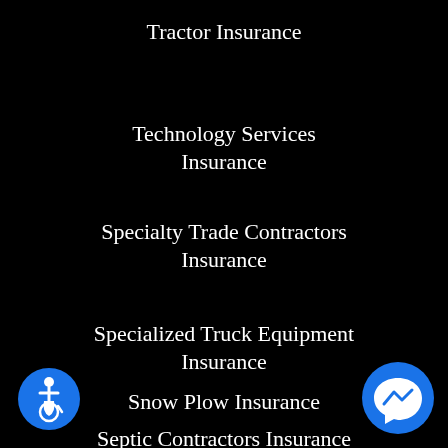Tractor Insurance
Technology Services Insurance
Specialty Trade Contractors Insurance
Specialized Truck Equipment Insurance
Snow Plow Insurance
Septic Contractors Insurance
[Figure (illustration): Blue circle accessibility icon with wheelchair user symbol, bottom left corner]
[Figure (illustration): Blue circle Facebook Messenger lightning bolt icon, bottom right corner]